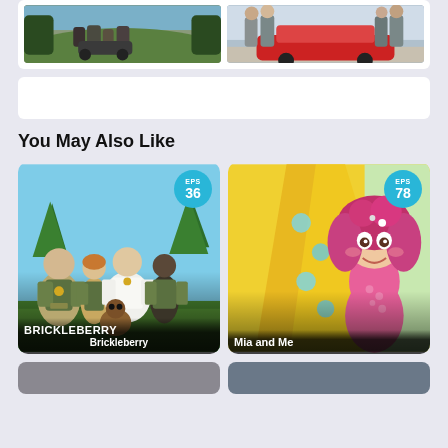[Figure (screenshot): Two TV show promo images side by side at top of page]
[Figure (screenshot): Advertisement banner area (white card, blank)]
You May Also Like
[Figure (illustration): Brickleberry animated show card with EPS 36 badge, cartoon park rangers characters, title BRICKLEBERRY]
[Figure (illustration): Mia and Me animated show card with EPS 78 badge, fairy mermaid character, title Mia and Me]
[Figure (screenshot): Two more show cards partially visible at the bottom of the page]